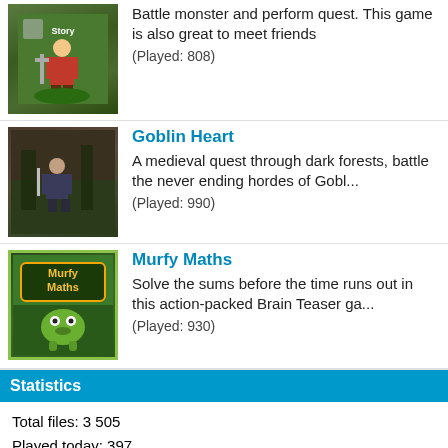[Figure (illustration): Maple Story game thumbnail showing a character sprite on green background]
Battle monster and perform quest. This game is also great to meet friends
(Played: 808)
[Figure (illustration): Goblin Heart game thumbnail showing a character on dark forest background]
Goblin Heart
A medieval quest through dark forests, battle the never ending hordes of Gobl...
(Played: 990)
[Figure (illustration): Murfy Maths game thumbnail with green border showing the Murfy Maths logo]
Murfy Maths
Solve the sums before the time runs out in this action-packed Brain Teaser ga...
(Played: 930)
Statistics
Total files: 3 505
Played today: 397
Overall played: 4 355 843
Total members: 315
Users online: 17 (0 members, 17 guests)
Most Popular
Extreme Pamplona (76 120 times)
Golf Solitaire Pro (27 102 times)
8 Ball Champion (10 929 times)